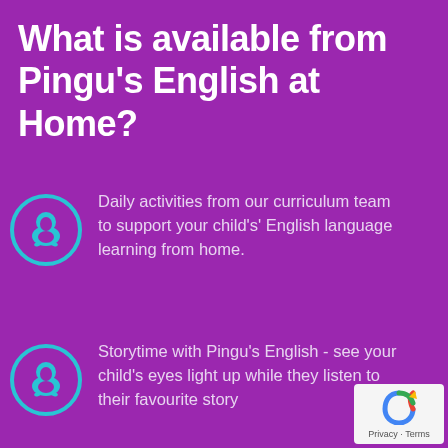What is available from Pingu's English at Home?
[Figure (illustration): Cyan circle with a penguin silhouette icon inside, first row]
Daily activities from our curriculum team to support your child's' English language learning from home.
[Figure (illustration): Cyan circle with a penguin silhouette icon inside, second row]
Storytime with Pingu's English - see your child's eyes light up while they listen to their favourite story
[Figure (logo): Google reCAPTCHA badge with Privacy and Terms text]